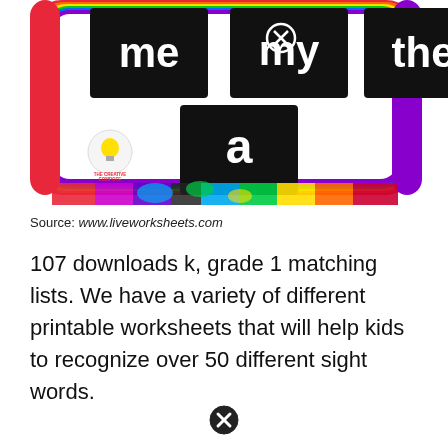[Figure (illustration): A colorful educational sight words card showing black tiles with white words 'me', 'my', 'the', and 'a' on a rainbow-bordered white background with The Creative Compote logo. A rainbow paint splash stripe runs across the bottom.]
Source: www.liveworksheets.com
107 downloads k, grade 1 matching lists. We have a variety of different printable worksheets that will help kids to recognize over 50 different sight words.
[Figure (logo): A circled X icon at the bottom center of the page.]